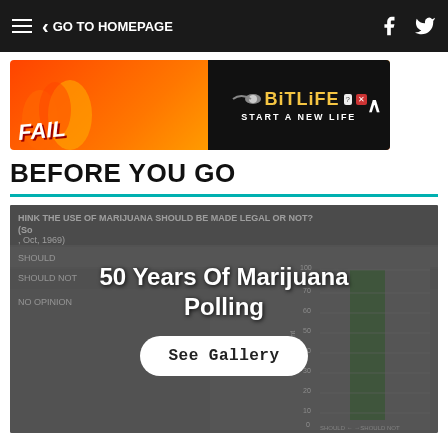GO TO HOMEPAGE
[Figure (advertisement): BitLife 'FAIL START A NEW LIFE' banner advertisement with orange/red flame background and black right panel with yellow BitLife branding]
BEFORE YOU GO
[Figure (other): Gallery overlay on a dimmed bar chart showing marijuana polling data titled '50 Years Of Marijuana Polling' with a 'See Gallery' button. The background chart shows data about whether the use of marijuana should be made legal, with categories SHOULD, SHOULD NOT, NO OPINION from a Gallup Oct 1969 survey.]
50 Years Of Marijuana Polling — See Gallery